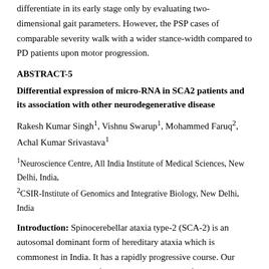differentiate in its early stage only by evaluating two-dimensional gait parameters. However, the PSP cases of comparable severity walk with a wider stance-width compared to PD patients upon motor progression.
ABSTRACT-5
Differential expression of micro-RNA in SCA2 patients and its association with other neurodegenerative disease
Rakesh Kumar Singh¹, Vishnu Swarup¹, Mohammed Faruq², Achal Kumar Srivastava¹
¹Neuroscience Centre, All India Institute of Medical Sciences, New Delhi, India, ²CSIR-Institute of Genomics and Integrative Biology, New Delhi, India
Introduction: Spinocerebellar ataxia type-2 (SCA-2) is an autosomal dominant form of hereditary ataxia which is commonest in India. It has a rapidly progressive course. Our objective was to identify targetable micro-RNA from SCA2 patient’s Peripheral Blood Mononuclear Cells and to do target prediction of identified micro-RNA and check its association with other neurodegenerative diseases.